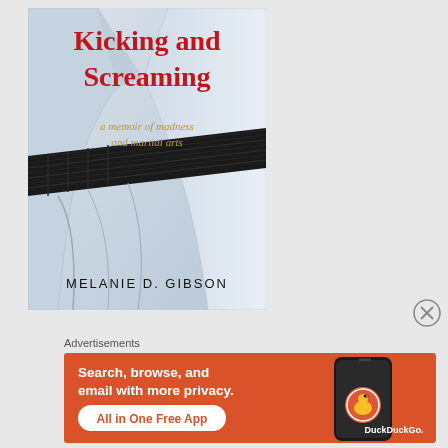[Figure (illustration): Book cover of 'Kicking and Screaming: a memoir of madness and martial arts' by Melanie D. Gibson. Shows a martial arts gi (white uniform) with a black belt. Title in red text, subtitle in gold/yellow text, author name in black text at bottom.]
[Figure (illustration): Close button (X in circle) in upper-right area]
Advertisements
[Figure (screenshot): DuckDuckGo advertisement banner on orange/red background. Text: 'Search, browse, and email with more privacy. All in One Free App'. Shows a smartphone with DuckDuckGo logo and brand name.]